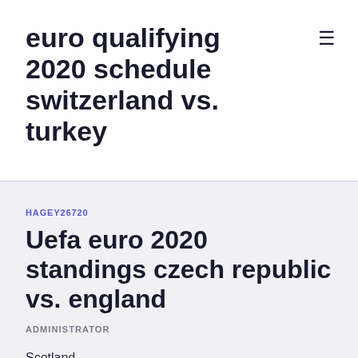euro qualifying 2020 schedule switzerland vs. turkey
HAGEY26720
Uefa euro 2020 standings czech republic vs. england
ADMINISTRATOR
Scotland.
England in the UEFA EURO 2020 at Wembley Stadium